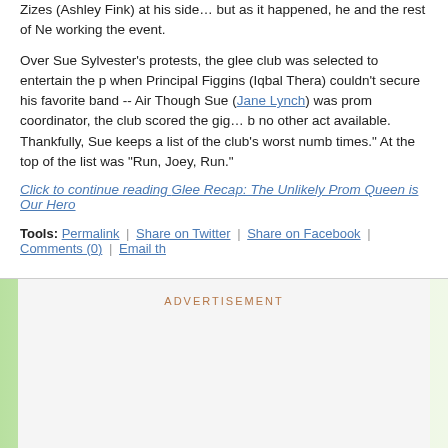Zizes (Ashley Fink) at his side… but as it happened, he and the rest of New Directions were working the event.
Over Sue Sylvester's protests, the glee club was selected to entertain the prom when Principal Figgins (Iqbal Thera) couldn't secure his favorite band -- Air Supply. Though Sue (Jane Lynch) was prom coordinator, the club scored the gig… because there was no other act available. Thankfully, Sue keeps a list of the club's worst numbers "for dark times." At the top of the list was "Run, Joey, Run."
Click to continue reading Glee Recap: The Unlikely Prom Queen is Our Hero
Tools: Permalink | Share on Twitter | Share on Facebook | Comments (0) | Email th
[Figure (other): Advertisement section with green gradient background and light grey inner box with ADVERTISEMENT label]